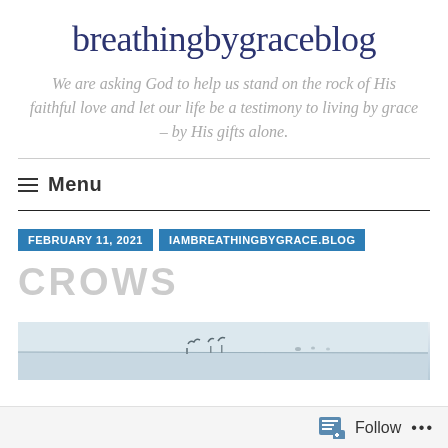breathingbygraceblog
We are asking God to help us stand on the rock of His faithful love and let our life be a testimony to living by grace – by His gifts alone.
≡ Menu
FEBRUARY 11, 2021   IAMBREATHINGBYGRACE.BLOG
CROWS
[Figure (photo): Faint winter landscape photo showing a snowy or icy horizon with small dark marks suggesting crows]
Follow ...